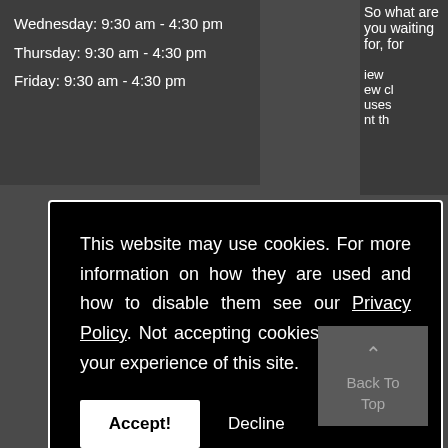Wednesday: 9:30 am - 4:30 pm
Thursday: 9:30 am - 4:30 pm
Friday: 9:30 am - 4:30 pm
So what are you waiting for, for
This website may use cookies. For more information on how they are used and how to disable them see our Privacy Policy. Not accepting cookies may affect your experience of this site.
Accept!
Decline
Back To Top